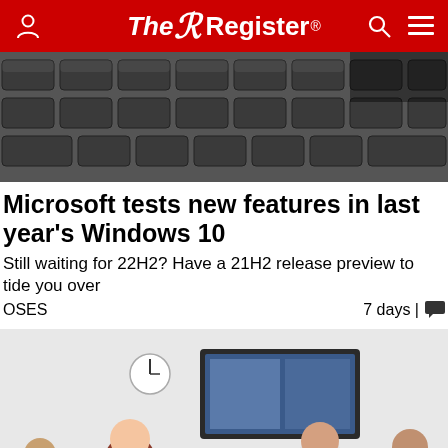The Register
[Figure (photo): Close-up of a dark laptop/keyboard keys in black and white]
Microsoft tests new features in last year's Windows 10
Still waiting for 22H2? Have a 21H2 release preview to tide you over
OSES   7 days |
[Figure (photo): Business meeting room with people sitting around a table and a video conference screen on the wall]